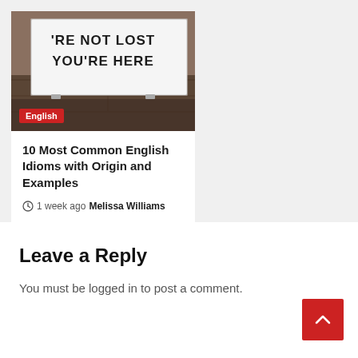[Figure (photo): A sign reading 'YOU'RE NOT LOST YOU'RE HERE' in dark bold text on a white board, mounted on a stone/brick building, sepia-toned photo with an English category badge overlay.]
10 Most Common English Idioms with Origin and Examples
1 week ago  Melissa Williams
Leave a Reply
You must be logged in to post a comment.